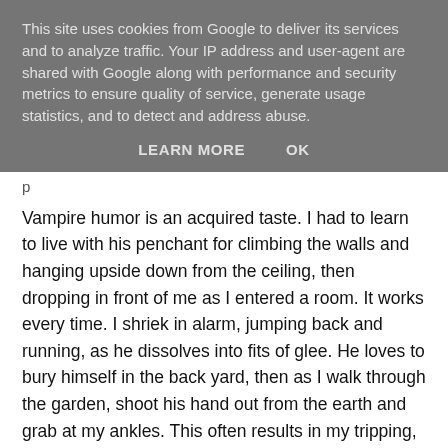This site uses cookies from Google to deliver its services and to analyze traffic. Your IP address and user-agent are shared with Google along with performance and security metrics to ensure quality of service, generate usage statistics, and to detect and address abuse.
LEARN MORE    OK
p
Vampire humor is an acquired taste. I had to learn to live with his penchant for climbing the walls and hanging upside down from the ceiling, then dropping in front of me as I entered a room. It works every time. I shriek in alarm, jumping back and running, as he dissolves into fits of glee. He loves to bury himself in the back yard, then as I walk through the garden, shoot his hand out from the earth and grab at my ankles. This often results in my tripping, and the dogs next door baying in terror. From time to time, I retaliate by putting a sterling silver padlock on his wooden coffin so he has to scratch his way out. I think it's humorous, but he gets rather peeved.